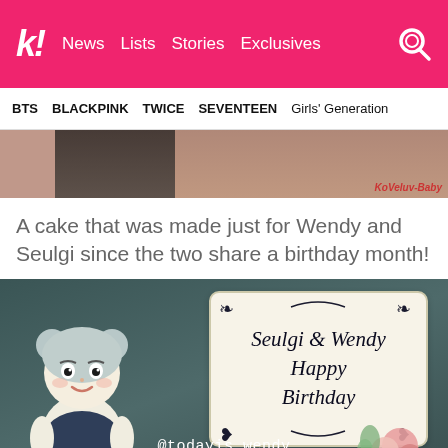k! News Lists Stories Exclusives
BTS BLACKPINK TWICE SEVENTEEN Girls' Generation
[Figure (photo): Partial image of a person in dark clothing with a pink/brown background, watermark 'KoVeluv-Baby' in red text at bottom right]
A cake that was made just for Wendy and Seulgi since the two share a birthday month!
[Figure (photo): Close-up photo of a birthday cake with a doll figure resembling Seulgi on the left and a white plaque reading 'Seulgi & Wendy Happy Birthday' in decorative script. Roses and flowers visible on the right. Watermark '@todayis_wendy' in white text at bottom.]